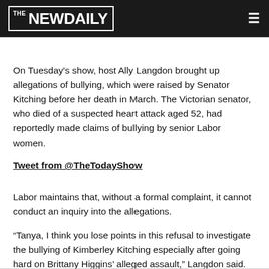THE NEW DAILY
On Tuesday's show, host Ally Langdon brought up allegations of bullying, which were raised by Senator Kitching before her death in March. The Victorian senator, who died of a suspected heart attack aged 52, had reportedly made claims of bullying by senior Labor women.
Tweet from @TheTodayShow
Labor maintains that, without a formal complaint, it cannot conduct an inquiry into the allegations.
“Tanya, I think you lose points in this refusal to investigate the bullying of Kimberley Kitching especially after going hard on Brittany Higgins’ alleged assault,” Langdon said.